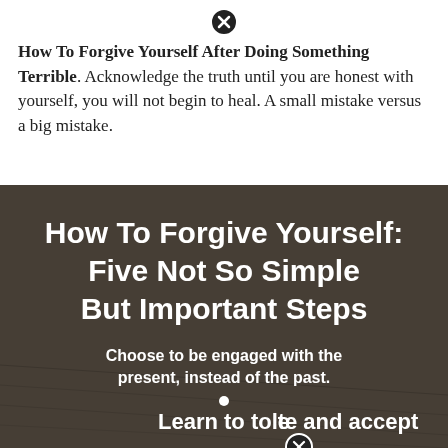[Figure (other): Close button icon (X in circle) at top center]
How To Forgive Yourself After Doing Something Terrible. Acknowledge the truth until you are honest with yourself, you will not begin to heal. A small mistake versus a big mistake.
[Figure (infographic): Dark background image with white bold text overlay reading 'How To Forgive Yourself: Five Not So Simple But Important Steps' with subtitle 'Choose to be engaged with the present, instead of the past.' and 'Learn to tolerate and accept']